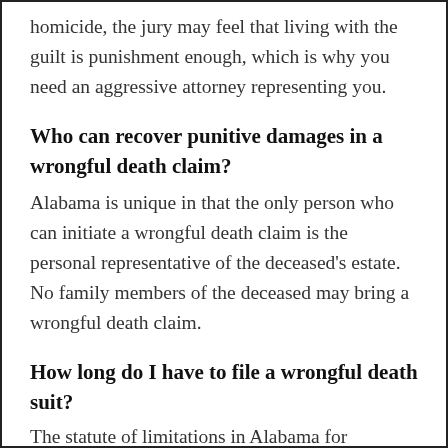homicide, the jury may feel that living with the guilt is punishment enough, which is why you need an aggressive attorney representing you.
Who can recover punitive damages in a wrongful death claim?
Alabama is unique in that the only person who can initiate a wrongful death claim is the personal representative of the deceased’s estate. No family members of the deceased may bring a wrongful death claim.
How long do I have to file a wrongful death suit?
The statute of limitations in Alabama for personal injury claims, which includes wrongful death